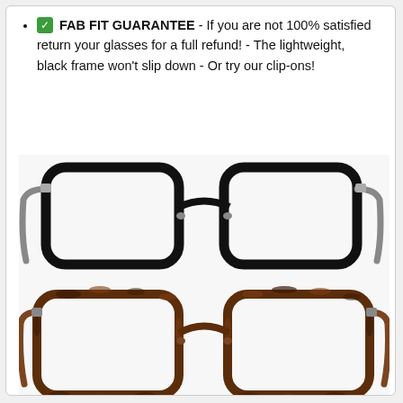✅ FAB FIT GUARANTEE - If you are not 100% satisfied return your glasses for a full refund! - The lightweight, black frame won't slip down - Or try our clip-ons!
[Figure (photo): Two pairs of eyeglasses shown vertically stacked. Top pair has a solid black frame. Bottom pair has a tortoiseshell/leopard print frame in brown and white. Both are rectangular/square shaped frames with clear lenses.]